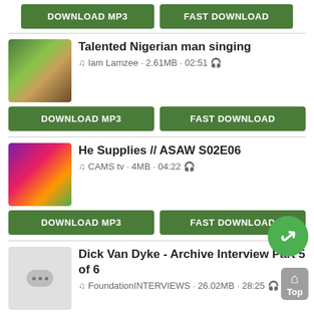[Figure (screenshot): Two green download buttons: DOWNLOAD MP3 and FAST DOWNLOAD]
Talented Nigerian man singing
♫ Iam Lamzee · 2.61MB · 02:51 🎧
[Figure (screenshot): Two green download buttons: DOWNLOAD MP3 and FAST DOWNLOAD]
He Supplies // ASAW S02E06
♫ CAMS tv · 4MB · 04:22 🎧
[Figure (screenshot): Two green download buttons: DOWNLOAD MP3 and FAST DOWNLOAD]
Dick Van Dyke - Archive Interview Part 5 of 6
♫ FoundationINTERVIEWS · 26.02MB · 28:25 🎧
[Figure (screenshot): Two green download buttons: DOWNLOAD MP3 and FAST DOWNLOAD]
Cari Kata Kunci: download lagu he sings like a professional singer vandyke - he sings like a professional singer vandyke mp3 - download mp3 he sings like a professional singer vandyke - download lagu he sings like a professional singer vandyke